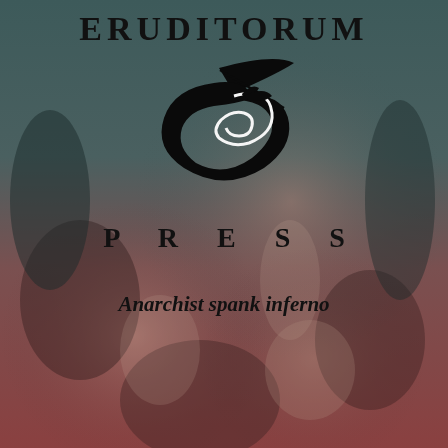[Figure (logo): Background image: a dark muted painting of classical figures, with a teal-to-red gradient overlay. Foreground: Eruditorum Press logo — stylized cursive 'EP' monogram in black.]
ERUDITORUM
[Figure (logo): Stylized cursive 'EP' monogram logo in black]
P R E S S
Anarchist spank inferno